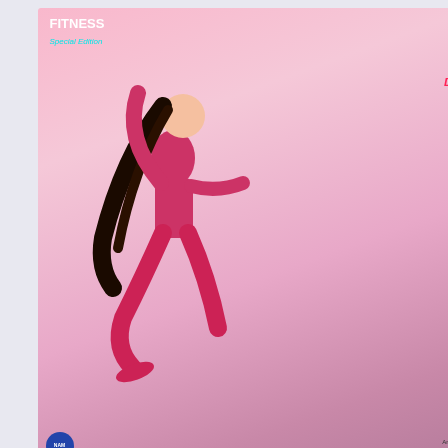[Figure (photo): Magazine cover of Natural Awakenings Fitness Special Edition, September 2013, showing a woman in a yoga pose with articles: Emerging Workouts Infused with Spirit, Deep-Healing Yoga Release Trauma Build Resilience, Staying Power A Good Trainer Keeps Us On Track]
Natural Awakenings Magazine September 2013
(((OY VEY!)))
[Figure (photo): Book cover with aged/parchment texture showing text: ONLINE HOLOCAUST]
Kindle E
More of Vi
BEAMED FROM THE SA
27 comments:
Anonymous said...
Ello Vis!
Its my birthday today! rite, go figure.
Been reading your blo all your gems.
Scroll to Top